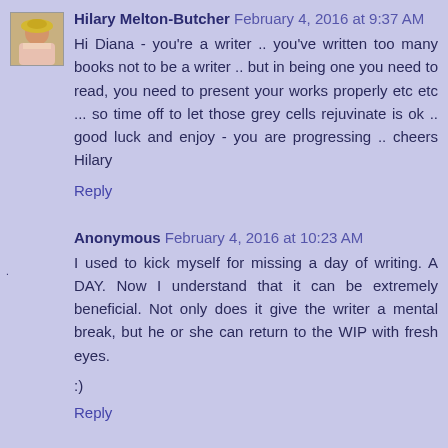Hilary Melton-Butcher February 4, 2016 at 9:37 AM
Hi Diana - you're a writer .. you've written too many books not to be a writer .. but in being one you need to read, you need to present your works properly etc etc ... so time off to let those grey cells rejuvinate is ok .. good luck and enjoy - you are progressing .. cheers Hilary
Reply
Anonymous February 4, 2016 at 10:23 AM
I used to kick myself for missing a day of writing. A DAY. Now I understand that it can be extremely beneficial. Not only does it give the writer a mental break, but he or she can return to the WIP with fresh eyes.

:)
Reply
Yvette Carol February 4, 2016 at 1:43 PM